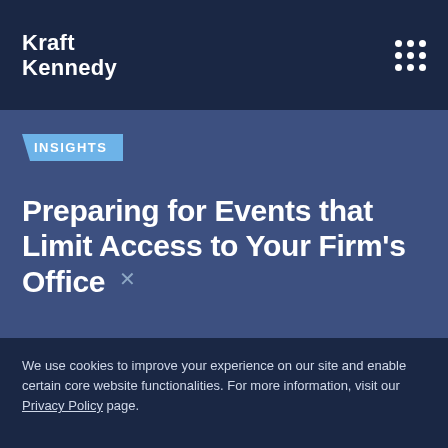Kraft Kennedy
INSIGHTS
Preparing for Events that Limit Access to Your Firm's Office
We use cookies to improve your experience on our site and enable certain core website functionalities. For more information, visit our Privacy Policy page.
Accept